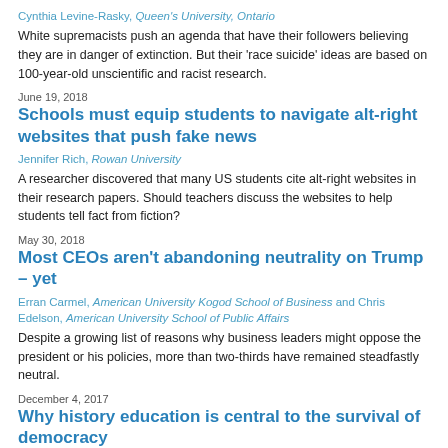Cynthia Levine-Rasky, Queen's University, Ontario
White supremacists push an agenda that have their followers believing they are in danger of extinction. But their 'race suicide' ideas are based on 100-year-old unscientific and racist research.
June 19, 2018
Schools must equip students to navigate alt-right websites that push fake news
Jennifer Rich, Rowan University
A researcher discovered that many US students cite alt-right websites in their research papers. Should teachers discuss the websites to help students tell fact from fiction?
May 30, 2018
Most CEOs aren't abandoning neutrality on Trump – yet
Erran Carmel, American University Kogod School of Business and Chris Edelson, American University School of Public Affairs
Despite a growing list of reasons why business leaders might oppose the president or his policies, more than two-thirds have remained steadfastly neutral.
December 4, 2017
Why history education is central to the survival of democracy